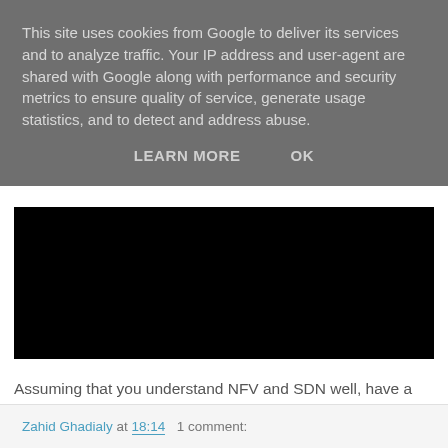This site uses cookies from Google to deliver its services and to analyze traffic. Your IP address and user-agent are shared with Google along with performance and security metrics to ensure quality of service, generate usage statistics, and to detect and address abuse.
LEARN MORE   OK
[Figure (other): Black rectangular area representing an embedded video or image]
Assuming that you understand NFV and SDN well, have a look at another interesting whitepaper that was published by Signals Research group, "Bending Iron – Software Defined Networks & Virtualization for the Mobile Operator", available here.
Zahid Ghadialy at 18:14   1 comment: